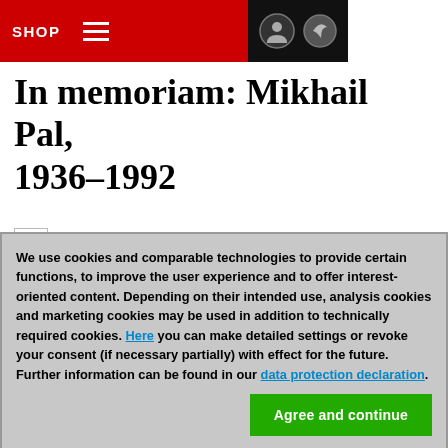SHOP
In memoriam: Mikhail Pal, 1936–1992
[Figure (photo): Broken/missing image placeholder]
We use cookies and comparable technologies to provide certain functions, to improve the user experience and to offer interest-oriented content. Depending on their intended use, analysis cookies and marketing cookies may be used in addition to technically required cookies. Here you can make detailed settings or revoke your consent (if necessary partially) with effect for the future. Further information can be found in our data protection declaration.